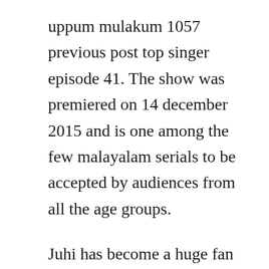uppum mulakum 1057 previous post top singer episode 41. The show was premiered on 14 december 2015 and is one among the few malayalam serials to be accepted by audiences from all the age groups.
Juhi has become a huge fan of the reality show uppum mulakum. That official never had to be involved in the outcome. In addition, many of the scenes were improvised, including dwights line. Customers love our blockbased approach to template building, it makes assembling beautiful pages fast and